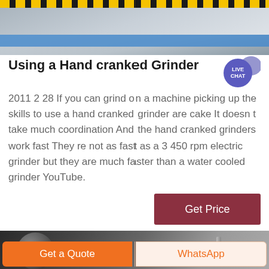[Figure (photo): Industrial machine/grinder in a factory setting with yellow and black safety striping at top and a blue metal bar visible]
Using a Hand cranked Grinder
[Figure (infographic): Live Chat speech bubble icon with purple circle and tail]
2011 2 28 If you can grind on a machine picking up the skills to use a hand cranked grinder are cake It doesn t take much coordination And the hand cranked grinders work fast They re not as fast as a 3 450 rpm electric grinder but they are much faster than a water cooled grinder YouTube.
[Figure (other): Get Price button — dark red/maroon rectangular button]
[Figure (photo): Industrial equipment photo showing a large spherical tank and metal pipes]
Get a Quote
WhatsApp